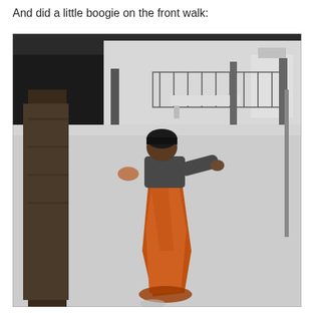And did a little boogie on the front walk:
[Figure (photo): A person wearing an orange sari and dark jacket with a beanie hat, dancing or doing a 'boogie' pose on a snow-covered front walk/yard. There is a large tree on the left, a green trash bin, a park bench, and iron fence visible in the snowy background.]